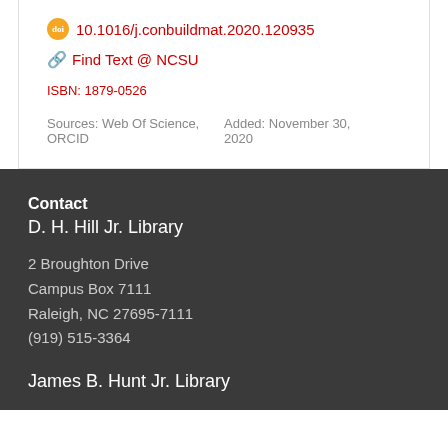10.1016/j.conbuildmat.2020.120935
Find Text @ NCSU
ISBN: 1879-0526
Sources: Web Of Science, ORCID
Added: November 30, 2020
Contact
D. H. Hill Jr. Library
2 Broughton Drive
Campus Box 7111
Raleigh, NC 27695-7111
(919) 515-3364
James B. Hunt Jr. Library